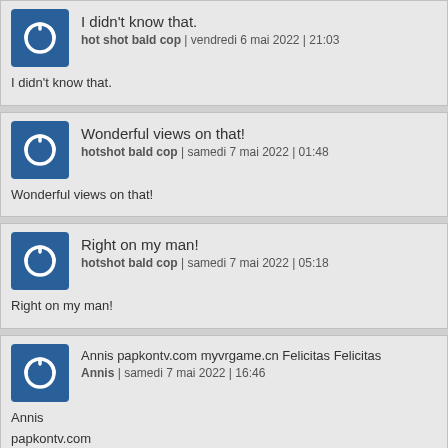I didn't know that.
hot shot bald cop | vendredi 6 mai 2022 | 21:03
I didn't know that.
Wonderful views on that!
hotshot bald cop | samedi 7 mai 2022 | 01:48
Wonderful views on that!
Right on my man!
hotshot bald cop | samedi 7 mai 2022 | 05:18
Right on my man!
Annis papkontv.com myvrgame.cn Felicitas Felicitas
Annis | samedi 7 mai 2022 | 16:46
Annis
papkontv.com
myvrgame.cn
Felicitas
Felicitas